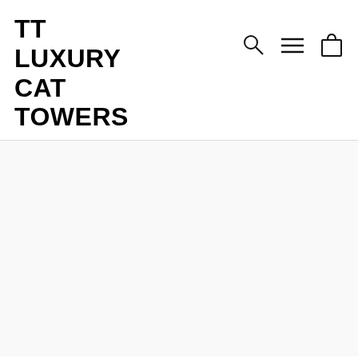TT LUXURY CAT TOWERS
[Figure (screenshot): Navigation icons: search magnifying glass, hamburger menu, and shopping bag]
[Figure (photo): Large product image area showing a cat bed product, mostly white/light gray]
NEW DUO CAT BED
[Figure (other): Color swatch selector row with light gray swatches]